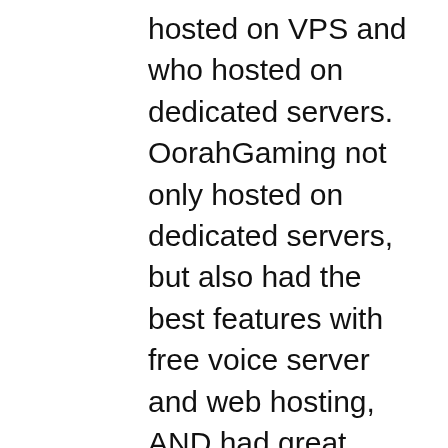hosted on VPS and who hosted on dedicated servers. OorahGaming not only hosted on dedicated servers, but also had the best features with free voice server and web hosting, AND had great prices. I learned that NFO, Gameservers, and Vilayer host on VPS because it allows them to cram a lot of game servers onto one dedicated server = Cheap Bastards! I immediately made the move to OorahGaming and never looked back and have never had any doubts about my decision. In the couple of years I have now been with OorahGaming the few support tickets I've created for mod install/update issues their response time has been all within a minute, I would even say within 30 seconds! And this is not only the first response, but the second, third, and forth! Their support team must be bored! LOL No lag, low ping, no issues to report with their game servers. I would recommend every